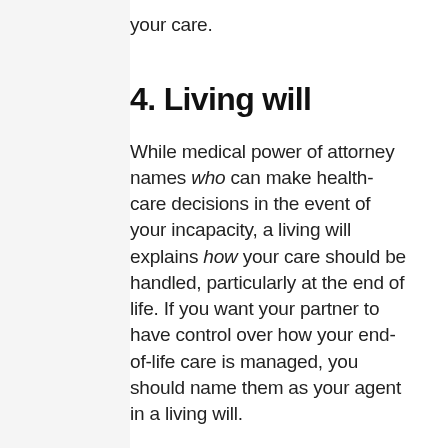your care.
4. Living will
While medical power of attorney names who can make health-care decisions in the event of your incapacity, a living will explains how your care should be handled, particularly at the end of life. If you want your partner to have control over how your end-of-life care is managed, you should name them as your agent in a living will.
A living will explains how you'd like important medical decisions made, including if and when you want life